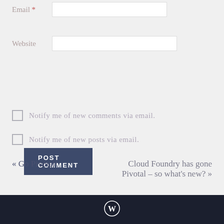Email *
Website
POST COMMENT
Notify me of new comments via email.
Notify me of new posts via email.
« Go Pivotal!
Cloud Foundry has gone Pivotal – so what's new? »
[Figure (logo): WordPress logo — circular W icon in dark navy footer bar]